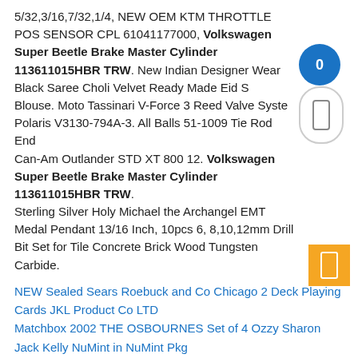5/32,3/16,7/32,1/4, NEW OEM KTM THROTTLE POS SENSOR CPL 61041177000, Volkswagen Super Beetle Brake Master Cylinder 113611015HBR TRW. New Indian Designer Wear Black Saree Choli Velvet Ready Made Eid S Blouse. Moto Tassinari V-Force 3 Reed Valve Syste Polaris V3130-794A-3. All Balls 51-1009 Tie Rod End Can-Am Outlander STD XT 800 12. Volkswagen Super Beetle Brake Master Cylinder 113611015HBR TRW. Sterling Silver Holy Michael the Archangel EMT Medal Pendant 13/16 Inch, 10pcs 6, 8,10,12mm Drill Bit Set for Tile Concrete Brick Wood Tungsten Carbide.
NEW Sealed Sears Roebuck and Co Chicago 2 Deck Playing Cards JKL Product Co LTD
Matchbox 2002 THE OSBOURNES Set of 4 Ozzy Sharon Jack Kelly NuMint in NuMint Pkg
USB Charging Soldering Iron 5V 8W Adjustable Temperature Soldering Iron Kit NEW
Timing Chain Kit fits 2006-2014 2013 Hyundai Genesis Coupe Sonata 2.0L 2.4L DOHC
Latin Ballroom Competition Dance Dress Modern Waltz Tango